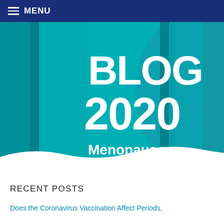MENU
[Figure (illustration): Teal/turquoise banner graphic with stylized wave shapes and text 'BLOG 2020' in large white bold letters and 'Menopause' in white bold text below]
RECENT POSTS
Does the Coronavirus Vaccination Affect Periods,